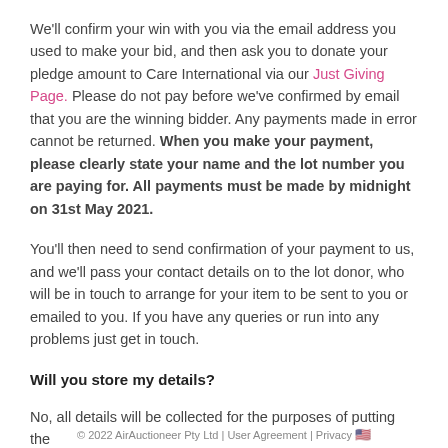We'll confirm your win with you via the email address you used to make your bid, and then ask you to donate your pledge amount to Care International via our Just Giving Page. Please do not pay before we've confirmed by email that you are the winning bidder. Any payments made in error cannot be returned. When you make your payment, please clearly state your name and the lot number you are paying for. All payments must be made by midnight on 31st May 2021.
You'll then need to send confirmation of your payment to us, and we'll pass your contact details on to the lot donor, who will be in touch to arrange for your item to be sent to you or emailed to you. If you have any queries or run into any problems just get in touch.
Will you store my details?
No, all details will be collected for the purposes of putting the
© 2022 AirAuctioneer Pty Ltd | User Agreement | Privacy 🇺🇸